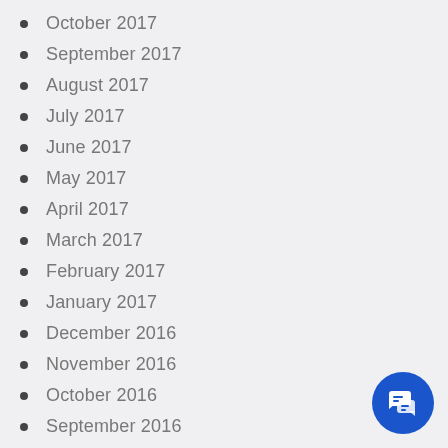October 2017
September 2017
August 2017
July 2017
June 2017
May 2017
April 2017
March 2017
February 2017
January 2017
December 2016
November 2016
October 2016
September 2016
August 2016
April 2016
[Figure (illustration): Blue circular chat button with speech bubble icon in the bottom right corner]